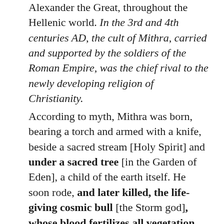Alexander the Great, throughout the Hellenic world. In the 3rd and 4th centuries AD, the cult of Mithra, carried and supported by the soldiers of the Roman Empire, was the chief rival to the newly developing religion of Christianity.
According to myth, Mithra was born, bearing a torch and armed with a knife, beside a sacred stream [Holy Spirit] and under a sacred tree [in the Garden of Eden], a child of the earth itself. He soon rode, and later killed, the life-giving cosmic bull [the Storm god], whose blood fertilizes all vegetation [the god who oversaw the creation/evolution of life on the Earth]. Mithra's slaying of the bull was a popular subject of Hellenic art and became the prototype for a bull-slaying motif familiar in the Mithraism of...